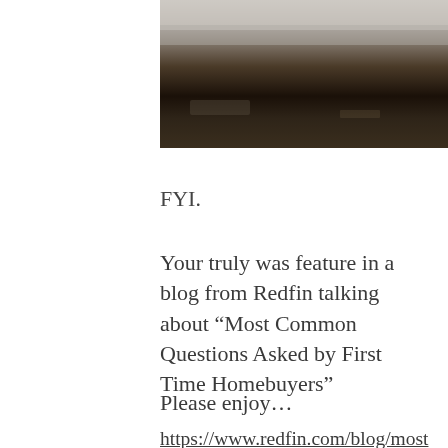[Figure (photo): Partial photo of what appears to be a dirty or dusty surface, possibly a wall or floor corner with debris, cropped at the top of the page]
FYI.
Your truly was feature in a blog from Redfin talking about “Most Common Questions Asked by First Time Homebuyers”
Please enjoy…
https://www.redfin.com/blog/most-common-questions-asked-by-first-time-homebuyers/